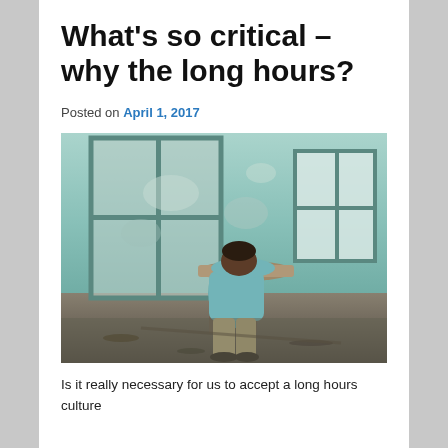What’s so critical – why the long hours?
Posted on April 1, 2017
[Figure (photo): Person slumped over a school desk in an abandoned, dilapidated room with peeling teal walls and broken windows]
Is it really necessary for us to accept a long hours culture